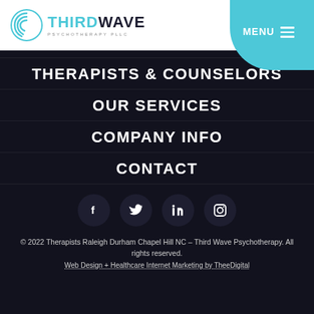[Figure (logo): Third Wave Psychotherapy PLLC logo with teal circular wave icon and text]
THERAPISTS & COUNSELORS
OUR SERVICES
COMPANY INFO
CONTACT
[Figure (infographic): Social media icons: Facebook, Twitter, LinkedIn, Instagram in dark circular buttons]
© 2022 Therapists Raleigh Durham Chapel Hill NC – Third Wave Psychotherapy. All rights reserved.
Web Design + Healthcare Internet Marketing by TheeDigital